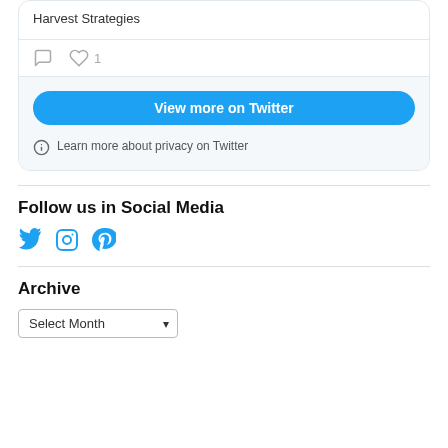Harvest Strategies
[Figure (screenshot): Twitter embed card showing tweet about Harvest Strategies with comment and like icons (1 like), a blue 'View more on Twitter' button, and a privacy info link]
Follow us in Social Media
[Figure (other): Social media icons: Twitter bird, Instagram camera, Pinterest P — all in blue]
Archive
Select Month